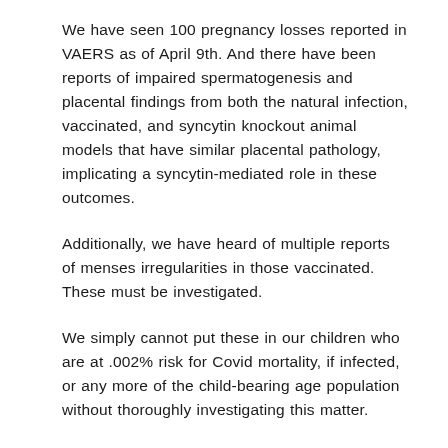We have seen 100 pregnancy losses reported in VAERS as of April 9th. And there have been reports of impaired spermatogenesis and placental findings from both the natural infection, vaccinated, and syncytin knockout animal models that have similar placental pathology, implicating a syncytin-mediated role in these outcomes.
Additionally, we have heard of multiple reports of menses irregularities in those vaccinated. These must be investigated.
We simply cannot put these in our children who are at .002% risk for Covid mortality, if infected, or any more of the child-bearing age population without thoroughly investigating this matter.
, we could potentially sterilize an entire generation. Speculation that this will not occur and a few anecdotal reports of pregnancies within the trial are not sufficient proof